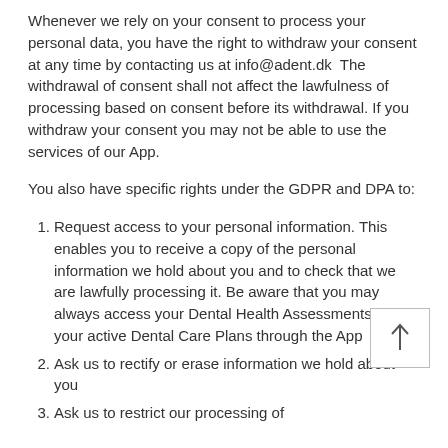Whenever we rely on your consent to process your personal data, you have the right to withdraw your consent at any time by contacting us at info@adent.dk  The withdrawal of consent shall not affect the lawfulness of processing based on consent before its withdrawal. If you withdraw your consent you may not be able to use the services of our App.
You also have specific rights under the GDPR and DPA to:
Request access to your personal information. This enables you to receive a copy of the personal information we hold about you and to check that we are lawfully processing it. Be aware that you may always access your Dental Health Assessments and your active Dental Care Plans through the App
Ask us to rectify or erase information we hold about you
Ask us to restrict our processing of